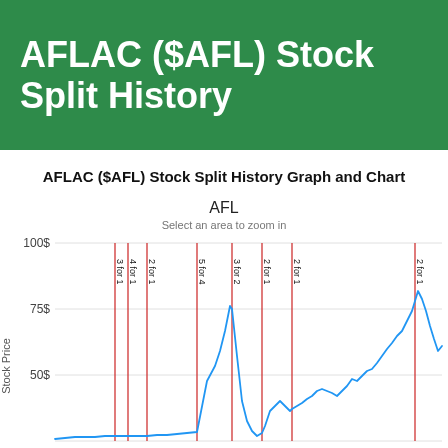AFLAC ($AFL) Stock Split History
AFLAC ($AFL) Stock Split History Graph and Chart
[Figure (continuous-plot): Line chart showing AFLAC ($AFL) stock price history with vertical red lines marking stock split events: 3 for 1, 4 for 1, 2 for 1, 5 for 4, 3 for 2, 2 for 1, 2 for 1, and 2 for 1. Y-axis shows Stock Price in dollars (50$, 75$, 100$). The stock price line is blue, rising over time.]